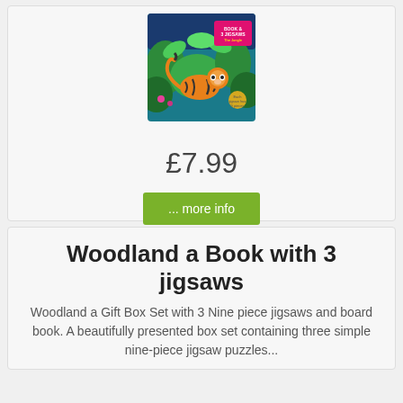[Figure (illustration): Book cover showing a tiger in a jungle, titled 'Book & 3 Jigsaws The Jungle' with colorful tropical foliage background]
£7.99
... more info
Woodland a Book with 3 jigsaws
Woodland a Gift Box Set with 3 Nine piece jigsaws and board book. A beautifully presented box set containing three simple nine-piece jigsaw puzzles...